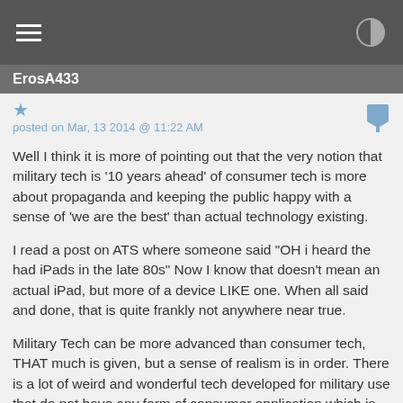ErosA433
posted on Mar, 13 2014 @ 11:22 AM
Well I think it is more of pointing out that the very notion that military tech is '10 years ahead' of consumer tech is more about propaganda and keeping the public happy with a sense of 'we are the best' than actual technology existing.
I read a post on ATS where someone said "OH i heard the had iPads in the late 80s" Now I know that doesn't mean an actual iPad, but more of a device LIKE one. When all said and done, that is quite frankly not anywhere near true.
Military Tech can be more advanced than consumer tech, THAT much is given, but a sense of realism is in order. There is a lot of weird and wonderful tech developed for military use that do not have any form of consumer application which is of course likely 10 years ahead of the nearest consumer equivalent but that really is not the average.